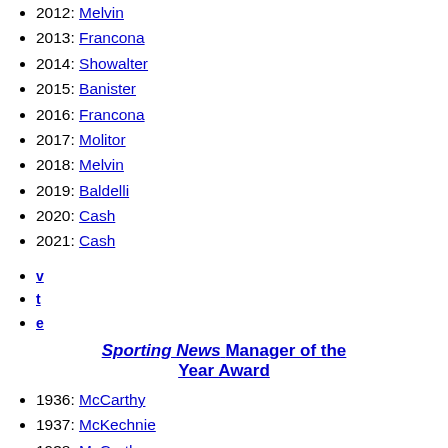2012: Melvin
2013: Francona
2014: Showalter
2015: Banister
2016: Francona
2017: Molitor
2018: Melvin
2019: Baldelli
2020: Cash
2021: Cash
v
t
e
Sporting News Manager of the Year Award
1936: McCarthy
1937: McKechnie
1938: McCarthy
1939: Durocher
1940: McKechnie
1941: Southworth
1942: Southworth
1943: McCarthy